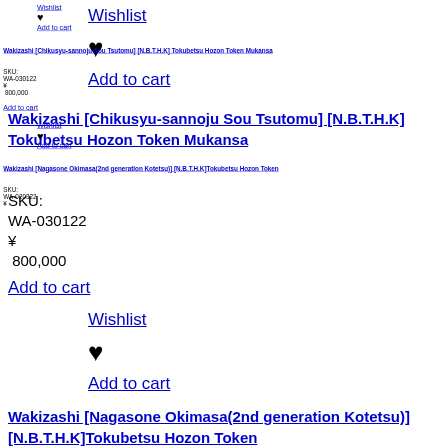Wishlist
♥
Add to cart
Wakizashi [Chikusyu-sannoju Sou Tsutomu] [N.B.T.H.K] Tokubetsu Hozon Token Mukansa
SKU:
WA-030122
¥
800,000
Add to cart
Wishlist
♥
Add to cart
Wakizashi [Nagasone Okimasa(2nd generation Kotetsu)] [N.B.T.H.K]Tokubetsu Hozon Token
SKU:
WA-020322
¥